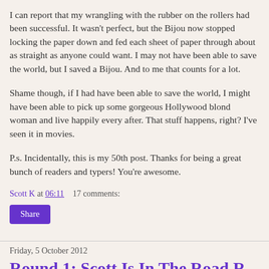I can report that my wrangling with the rubber on the rollers had been successful. It wasn't perfect, but the Bijou now stopped locking the paper down and fed each sheet of paper through about as straight as anyone could want. I may not have been able to save the world, but I saved a Bijou. And to me that counts for a lot.
Shame though, if I had have been able to save the world, I might have been able to pick up some gorgeous Hollywood blond woman and live happily every after. That stuff happens, right? I've seen it in movies.
P.s. Incidentally, this is my 50th post. Thanks for being a great bunch of readers and typers! You're awesome.
Scott K at 06:11    17 comments:
Share
Friday, 5 October 2012